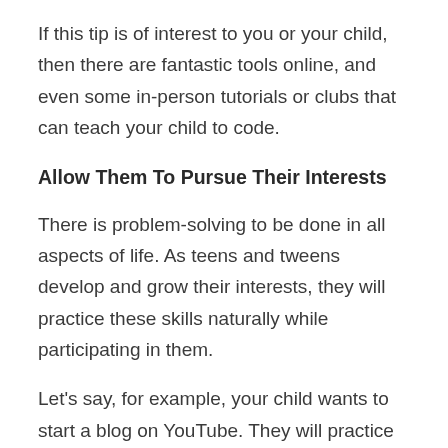If this tip is of interest to you or your child, then there are fantastic tools online, and even some in-person tutorials or clubs that can teach your child to code.
Allow Them To Pursue Their Interests
There is problem-solving to be done in all aspects of life. As teens and tweens develop and grow their interests, they will practice these skills naturally while participating in them.
Let's say, for example, your child wants to start a blog on YouTube. They will practice problem-